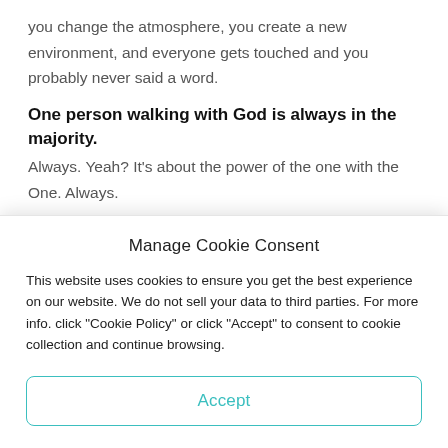you change the atmosphere, you create a new environment, and everyone gets touched and you probably never said a word.
One person walking with God is always in the majority.
Always. Yeah? It's about the power of the one with the One. Always.
When you choose delight as a lifestyle you enter into a place in the deepest passions of God for all people and all
Manage Cookie Consent
This website uses cookies to ensure you get the best experience on our website. We do not sell your data to third parties. For more info. click "Cookie Policy" or click "Accept" to consent to cookie collection and continue browsing.
Accept